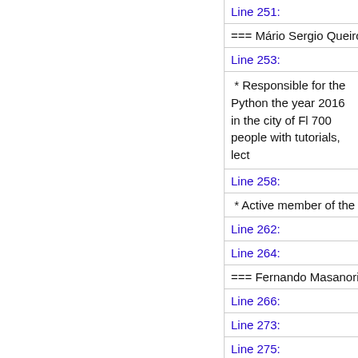Line 251:
=== Mário Sergio Queiroz ==
Line 253:
* Responsible for the Python the year 2016 in the city of Fl 700 people with tutorials, lect
Line 258:
* Active member of the Pytho
Line 262:
Line 264:
=== Fernando Masanori Ashk
Line 266:
Line 273:
Line 275:
=== Chukwudi Nwachukwu ==